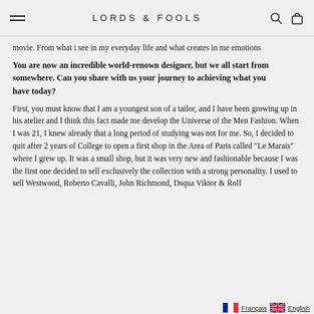LORDS & FOOLS
movie. From what i see in my everyday life and what creates in me emotions
You are now an incredible world-renown designer, but we all start from somewhere. Can you share with us your journey to achieving what you have today?
First, you must know that I am a youngest son of a tailor, and I have been growing up in his atelier and I think this fact made me develop the Universe of the Men Fashion. When I was 21, I knew already that a long period of studying was not for me. So, I decided to quit after 2 years of College to open a first shop in the Area of Paris called "Le Marais" where I grew up. It was a small shop, but it was very new and fashionable because I was the first one decided to sell exclusively the collection with a strong personality. I used to sell Westwood, Roberto Cavalli, John Richmond, Dsqua Viktor & Rolf